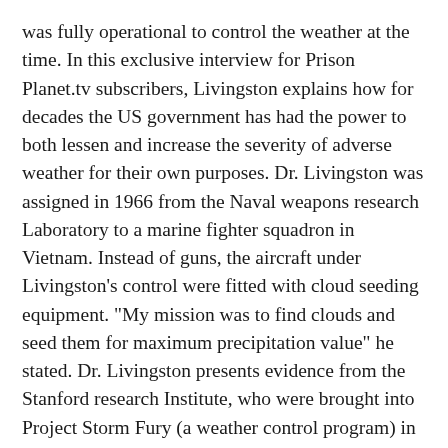was fully operational to control the weather at the time. In this exclusive interview for Prison Planet.tv subscribers, Livingston explains how for decades the US government has had the power to both lessen and increase the severity of adverse weather for their own purposes. Dr. Livingston was assigned in 1966 from the Naval weapons research Laboratory to a marine fighter squadron in Vietnam. Instead of guns, the aircraft under Livingston's control were fitted with cloud seeding equipment. "My mission was to find clouds and seed them for maximum precipitation value" he stated. Dr. Livingston presents evidence from the Stanford research Institute, who were brought into Project Storm Fury (a weather control program) in the late sixties as a third party, which stated conclusively that knowledge of how to stop hurricanes had been uncovered and that they would be directly liable should a hurricane hit and cause extensive damage and loss of life. Four decades later and Livingston exposes how the devastation caused by Hurricane Katrina could have been greatly minimized but was allowed to fully impact Gulf states for